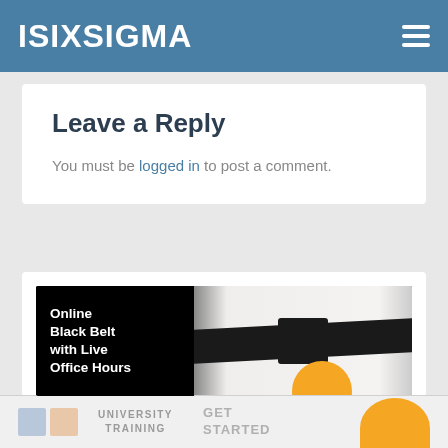ISIXSIGMA
Leave a Reply
You must be logged in to post a comment.
[Figure (photo): Advertisement banner for Online Black Belt with Live Office Hours course, showing a person in a white karate gi tying a black belt, with bold white text on the left black panel.]
[Figure (infographic): Bottom navigation bar with university training logo squares and GET STARTED call to action with orange circle element.]